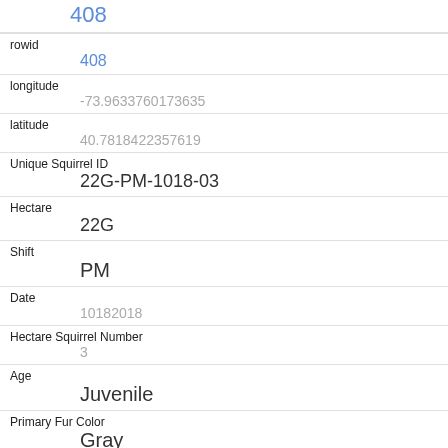408
| rowid | 408 |
| longitude | -73.9633760173635 |
| latitude | 40.7818422357619 |
| Unique Squirrel ID | 22G-PM-1018-03 |
| Hectare | 22G |
| Shift | PM |
| Date | 10182018 |
| Hectare Squirrel Number | 3 |
| Age | Juvenile |
| Primary Fur Color | Gray |